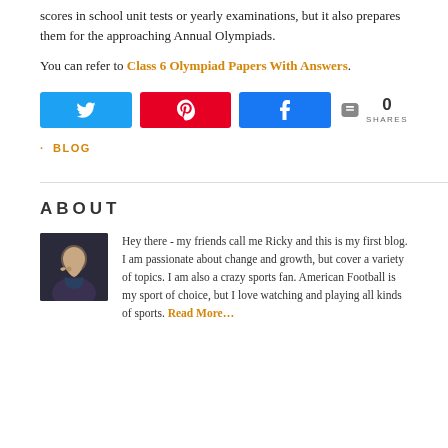scores in school unit tests or yearly examinations, but it also prepares them for the approaching Annual Olympiads.
You can refer to Class 6 Olympiad Papers With Answers.
[Figure (other): Social share buttons: Twitter (blue), Pinterest (red), Facebook (blue), and share count showing 0 SHARES]
· BLOG
ABOUT
[Figure (photo): Photo of a young man with his hand near his chin, wearing a dark shirt]
Hey there - my friends call me Ricky and this is my first blog. I am passionate about change and growth, but cover a variety of topics. I am also a crazy sports fan. American Football is my sport of choice, but I love watching and playing all kinds of sports. Read More…